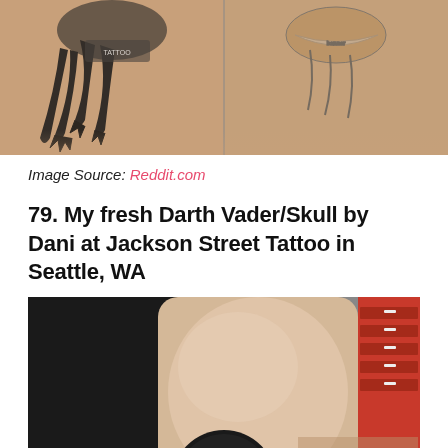[Figure (photo): Cropped photo showing tattoos on skin — dark detailed tattoo designs with claw/dragon-like elements visible on what appears to be legs or arms, split into two panels side by side]
Image Source: Reddit.com
79. My fresh Darth Vader/Skull by Dani at Jackson Street Tattoo in Seattle, WA
[Figure (photo): Photo of a person's forearm/wrist showing the beginning of a fresh tattoo — a circular dark tattoo design (appears to be Darth Vader/skull) visible at the bottom of the wrist. A red tool cabinet is visible in the background of what appears to be a tattoo studio.]